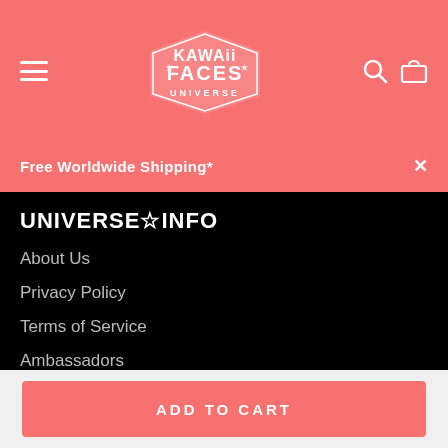Kawaii Faces Universe — navigation header with hamburger menu, logo, search and cart icons
Free Worldwide Shipping*
UNIVERSE☆INFO
About Us
Privacy Policy
Terms of Service
Ambassadors
Contact Us
FAQ
ADD TO CART